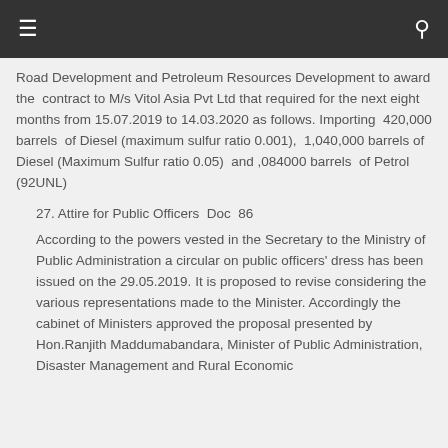Road Development and Petroleum Resources Development to award the contract to M/s Vitol Asia Pvt Ltd that required for the next eight months from 15.07.2019 to 14.03.2020 as follows. Importing 420,000 barrels of Diesel (maximum sulfur ratio 0.001), 1,040,000 barrels of Diesel (Maximum Sulfur ratio 0.05) and ,084000 barrels of Petrol (92UNL)
27. Attire for Public Officers  Doc  86
According to the powers vested in the Secretary to the Ministry of Public Administration a circular on public officers' dress has been issued on the 29.05.2019. It is proposed to revise considering the various representations made to the Minister. Accordingly the cabinet of Ministers approved the proposal presented by Hon.Ranjith Maddumabandara, Minister of Public Administration, Disaster Management and Rural Economic